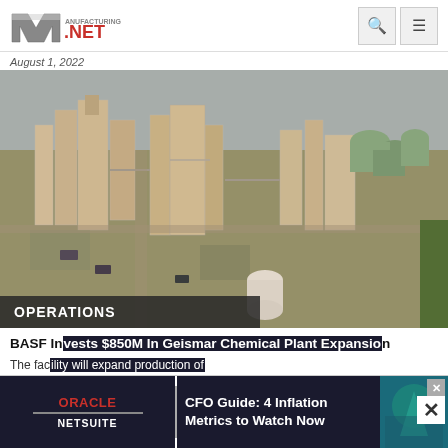Manufacturing.net
August 1, 2022
[Figure (photo): Aerial view of a large chemical/industrial plant facility with multiple processing towers, pipes, storage tanks, and parking areas]
OPERATIONS
BASF Invests $850M In Geismar Chemical Plant Expansion
The facility will expand production of polyurethanes
[Figure (infographic): Oracle NetSuite advertisement: CFO Guide: 4 Inflation Metrics to Watch Now]